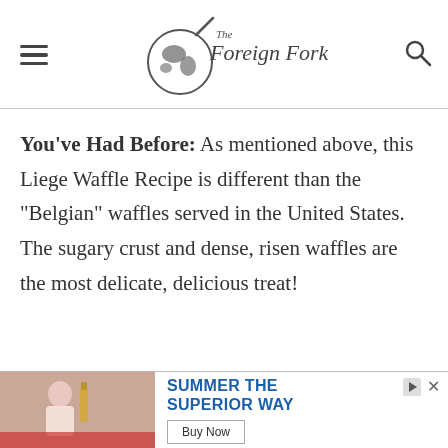The Foreign Fork
You've Had Before: As mentioned above, this Liege Waffle Recipe is different than the "Belgian" waffles served in the United States. The sugary crust and dense, risen waffles are the most delicate, delicious treat!
[Figure (photo): Advertisement banner at the bottom of the page showing a person with a beer bottle on the left side and text 'SUMMER THE SUPERIOR WAY' with a 'Buy Now' button on the right side.]